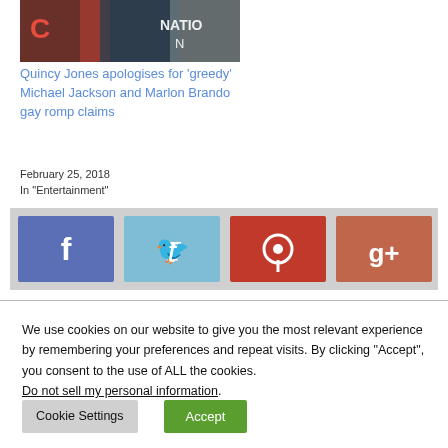[Figure (photo): Cropped photo of a person at an event, partial text visible in background]
Quincy Jones apologises for 'greedy' Michael Jackson and Marlon Brando gay romp claims
February 25, 2018
In "Entertainment"
[Figure (infographic): Social media share buttons: Facebook (blue), Twitter (light blue), Pinterest (red), Google+ (coral/red)]
We use cookies on our website to give you the most relevant experience by remembering your preferences and repeat visits. By clicking “Accept”, you consent to the use of ALL the cookies. Do not sell my personal information.
Cookie Settings    Accept